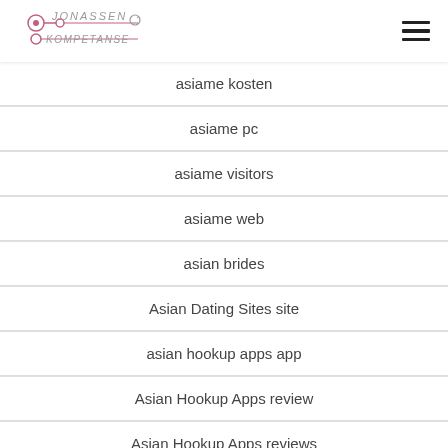Jonassen Kompetanse
asiame kosten
asiame pc
asiame visitors
asiame web
asian brides
Asian Dating Sites site
asian hookup apps app
Asian Hookup Apps review
Asian Hookup Apps reviews
asian tinder review